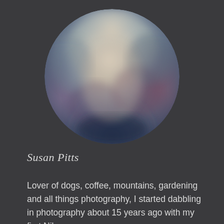[Figure (photo): Circular blurred profile photo with soft bokeh effect showing muted blue, purple, and cream tones, centered near the top of a dark gray background.]
Susan Pitts
Lover of dogs, coffee, mountains, gardening and all things photography, I started dabbling in photography about 15 years ago with my first Nikon